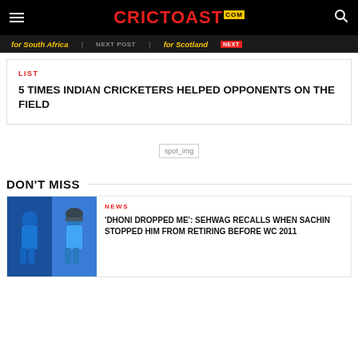CRICTOAST.com
for South Africa | for Scotland
LIST
5 TIMES INDIAN CRICKETERS HELPED OPPONENTS ON THE FIELD
[Figure (other): Advertisement placeholder image (spot_img)]
DON'T MISS
[Figure (photo): Two cricket players in blue Indian cricket team jerseys]
NEWS
'DHONI DROPPED ME': SEHWAG RECALLS WHEN SACHIN STOPPED HIM FROM RETIRING BEFORE WC 2011